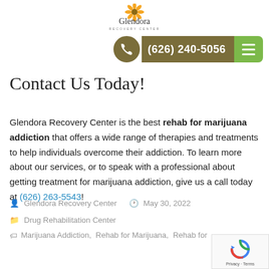[Figure (logo): Glendora Recovery Center logo with sunflower and cursive text]
[Figure (infographic): Phone call bar with number (626) 240-5056 and hamburger menu icon]
Contact Us Today!
Glendora Recovery Center is the best rehab for marijuana addiction that offers a wide range of therapies and treatments to help individuals overcome their addiction. To learn more about our services, or to speak with a professional about getting treatment for marijuana addiction, give us a call today at (626) 263-5543!
Glendora Recovery Center   May 30, 2022
Drug Rehabilitation Center
Marijuana Addiction,  Rehab for Marijuana,  Rehab for